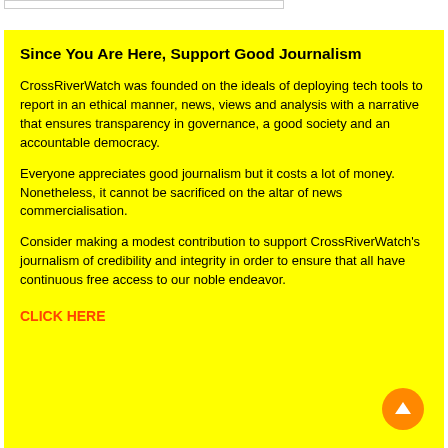Since You Are Here, Support Good Journalism
CrossRiverWatch was founded on the ideals of deploying tech tools to report in an ethical manner, news, views and analysis with a narrative that ensures transparency in governance, a good society and an accountable democracy.
Everyone appreciates good journalism but it costs a lot of money. Nonetheless, it cannot be sacrificed on the altar of news commercialisation.
Consider making a modest contribution to support CrossRiverWatch's journalism of credibility and integrity in order to ensure that all have continuous free access to our noble endeavor.
CLICK HERE